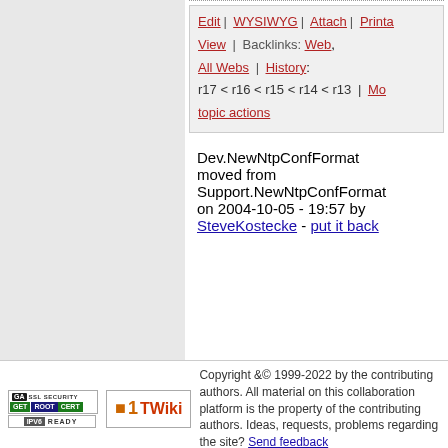Edit | WYSIWYG | Attach | Printable View | Backlinks: Web, All Webs | History: r17 < r16 < r15 < r14 < r13 | More topic actions
Dev.NewNtpConfFormat moved from Support.NewNtpConfFormat on 2004-10-05 - 19:57 by SteveKostecke - put it back
Copyright &© 1999-2022 by the contributing authors. All material on this collaboration platform is the property of the contributing authors. Ideas, requests, problems regarding the site? Send feedback